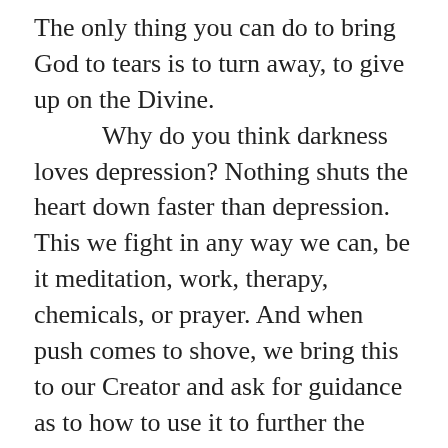The only thing you can do to bring God to tears is to turn away, to give up on the Divine. Why do you think darkness loves depression? Nothing shuts the heart down faster than depression. This we fight in any way we can, be it meditation, work, therapy, chemicals, or prayer. And when push comes to shove, we bring this to our Creator and ask for guidance as to how to use it to further the growing evolution of his loving multiverse. Each and every action we take is a gift to Source, a return thank you for the lives given to us. This is what Mr. Boseman teaches us in so many ways. Make our lives a gift, wherever our talents may fall, and we will have